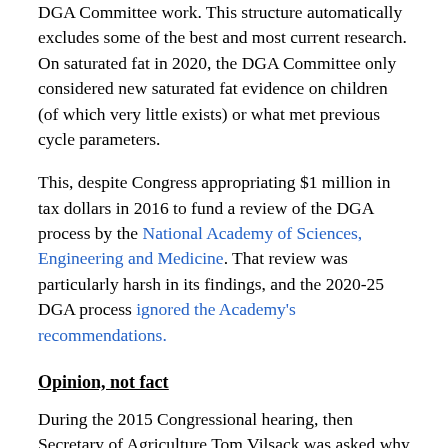DGA Committee work. This structure automatically excludes some of the best and most current research. On saturated fat in 2020, the DGA Committee only considered new saturated fat evidence on children (of which very little exists) or what met previous cycle parameters.
This, despite Congress appropriating $1 million in tax dollars in 2016 to fund a review of the DGA process by the National Academy of Sciences, Engineering and Medicine. That review was particularly harsh in its findings, and the 2020-25 DGA process ignored the Academy's recommendations.
Opinion, not fact
During the 2015 Congressional hearing, then Secretary of Agriculture Tom Vilsack was asked why 70% of the DGA process did not use studies funded by the National